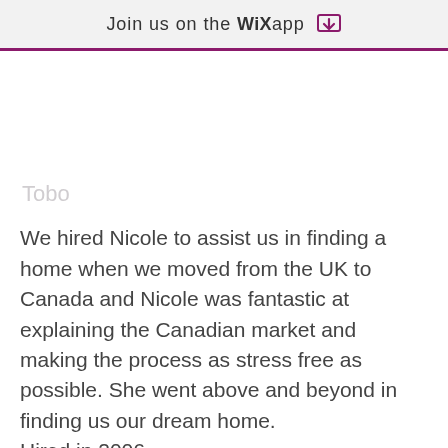Join us on the WiX app
Tobo
We hired Nicole to assist us in finding a home when we moved from the UK to Canada and Nicole was fantastic at explaining the Canadian market and making the process as stress free as possible. She went above and beyond in finding us our dream home. Hired in 2006